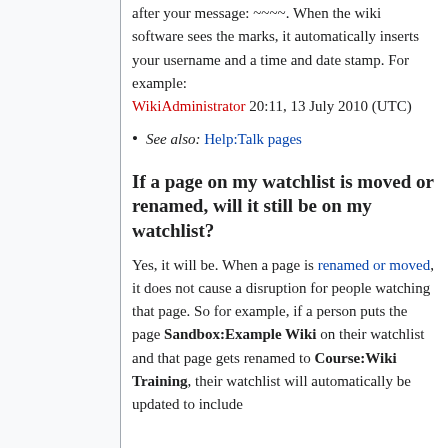after your message: ~~~~. When the wiki software sees the marks, it automatically inserts your username and a time and date stamp. For example: WikiAdministrator 20:11, 13 July 2010 (UTC)
See also: Help:Talk pages
If a page on my watchlist is moved or renamed, will it still be on my watchlist?
Yes, it will be. When a page is renamed or moved, it does not cause a disruption for people watching that page. So for example, if a person puts the page Sandbox:Example Wiki on their watchlist and that page gets renamed to Course:Wiki Training, their watchlist will automatically be updated to include